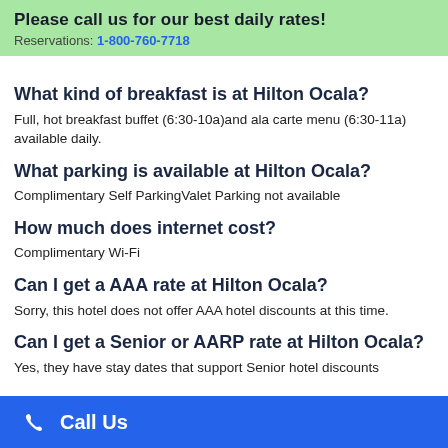Please call us for our best daily rates! Reservations: 1-800-760-7718
What kind of breakfast is at Hilton Ocala?
Full, hot breakfast buffet (6:30-10a)and ala carte menu (6:30-11a) available daily.
What parking is available at Hilton Ocala?
Complimentary Self ParkingValet Parking not available
How much does internet cost?
Complimentary Wi-Fi
Can I get a AAA rate at Hilton Ocala?
Sorry, this hotel does not offer AAA hotel discounts at this time.
Can I get a Senior or AARP rate at Hilton Ocala?
Yes, they have stay dates that support Senior hotel discounts
Call Us